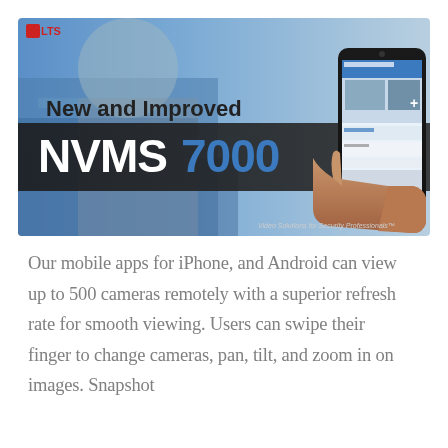[Figure (photo): LTS promotional banner showing a hand holding a smartphone displaying the NVMS7000 app interface. Text reads 'New and Improved' and 'NVMS7000'. LTS logo in top-left corner. Background shows a blurred person using a phone.]
Our mobile apps for iPhone, and Android can view up to 500 cameras remotely with a superior refresh rate for smooth viewing. Users can swipe their finger to change cameras, pan, tilt, and zoom in on images. Snapshot